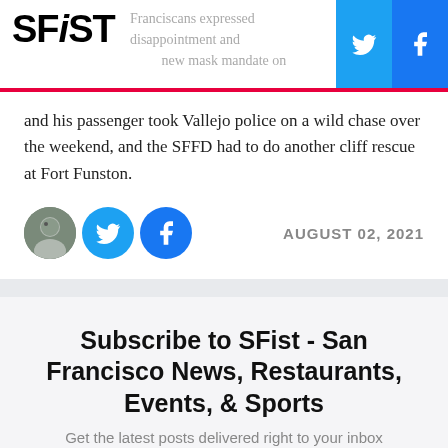SFiST
and his passenger took Vallejo police on a wild chase over the weekend, and the SFFD had to do another cliff rescue at Fort Funston.
AUGUST 02, 2021
Subscribe to SFist - San Francisco News, Restaurants, Events, & Sports
Get the latest posts delivered right to your inbox
youremail@example.com